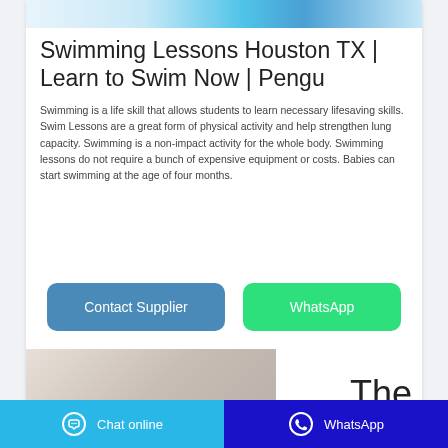[Figure (photo): Top image strip showing swim-related imagery in blue/teal tones]
Swimming Lessons Houston TX | Learn to Swim Now | Pengu
Swimming is a life skill that allows students to learn necessary lifesaving skills. Swim Lessons are a great form of physical activity and help strengthen lung capacity. Swimming is a non-impact activity for the whole body. Swimming lessons do not require a bunch of expensive equipment or costs. Babies can start swimming at the age of four months.
[Figure (other): Contact Supplier and WhatsApp buttons]
[Figure (photo): Bottom partial photo of a pool/swim facility interior, beige tones, with the word 'The' partially visible to the right]
Chat online   WhatsApp